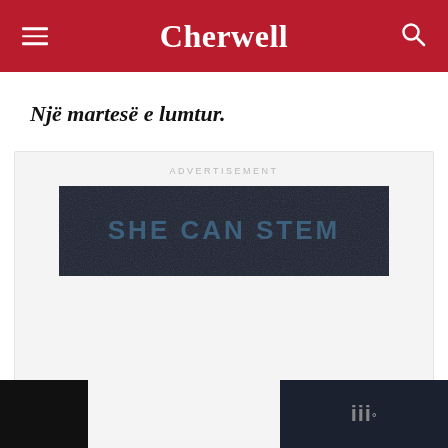Cherwell
Një martesë e lumtur.
[Figure (screenshot): Advertisement banner with dark background showing text 'SHE CAN STEM' in large bold letters]
[Figure (screenshot): UI floating action buttons: heart/like button (blue circle), count '1', and share button]